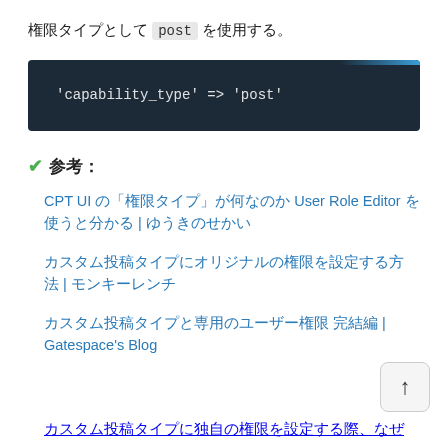権限タイプとして post を使用する。
[Figure (screenshot): Code block with dark background showing: 'capability_type' => 'post']
✔ 参考：
CPT UI の「権限タイプ」が何なのか User Role Editor を使うと分かる | ゆうきのせかい
カスタム投稿タイプにオリジナルの権限を設定する方法 | モンキーレンチ
カスタム投稿タイプと専用のユーザー権限 完結編 | Gatespace's Blog
カスタム投稿タイプに独自の権限を設定する際、なぜ